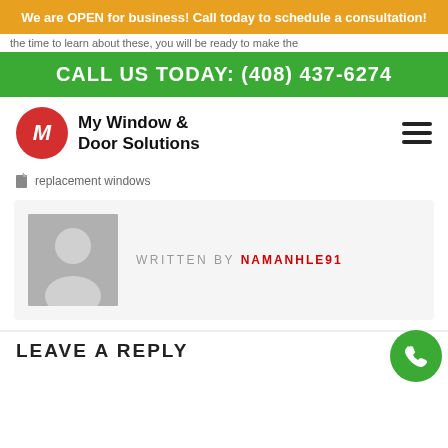We are OPEN for business! Call today to schedule a consultation!
the time to learn about these, you will be ready to make the
CALL US TODAY: (408) 437-6274
[Figure (logo): My Window & Door Solutions logo with red circle M icon]
replacement windows
WRITTEN BY NAMANHLE91
[Figure (photo): Default user avatar placeholder image]
LEAVE A REPLY